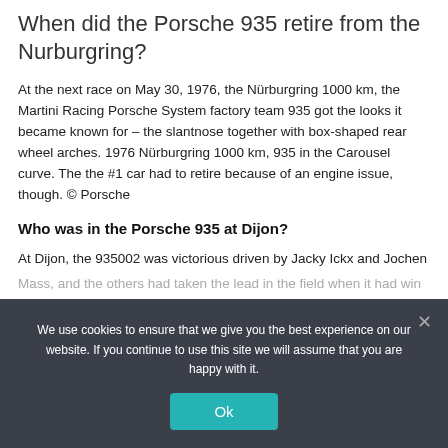When did the Porsche 935 retire from the Nurburgring?
At the next race on May 30, 1976, the Nürburgring 1000 km, the Martini Racing Porsche System factory team 935 got the looks it became known for – the slantnose together with box-shaped rear wheel arches. 1976 Nürburgring 1000 km, 935 in the Carousel curve. The the #1 car had to retire because of an engine issue, though. © Porsche
Who was in the Porsche 935 at Dijon?
At Dijon, the 935002 was victorious driven by Jacky Ickx and Jochen
We use cookies to ensure that we give you the best experience on our website. If you continue to use this site we will assume that you are happy with it.